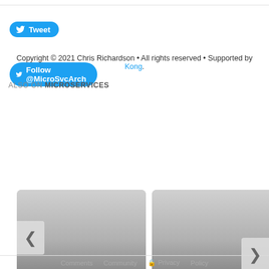[Figure (other): Tweet button — blue rounded rectangle with Twitter bird icon and text 'Tweet']
[Figure (other): Follow button — blue rounded rectangle with Twitter bird icon and text 'Follow @MicroSvcArch']
Copyright © 2021 Chris Richardson • All rights reserved • Supported by Kong.
ALSO ON MICROSERVICES
[Figure (other): Carousel of related articles: Left arrow nav, card 1 'Remote Procedure Invocation (RPI)' with meta 'rs ago • 1 comment', card 2 'Transactional outbox' with meta '3 years ago • 4 comments', right arrow nav]
Comments • Community • Privacy • Policy